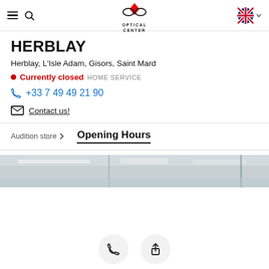Optical Center — Navigation bar with hamburger menu, search, logo, and language selector
HERBLAY
Herblay, L'Isle Adam, Gisors, Saint Mard
Currently closed  HOME SERVICE
+33 7 49 49 21 90
Contact us!
Audition store >   Opening Hours
[Figure (photo): Partial interior shot of Optical Center store]
Phone and share action buttons at bottom